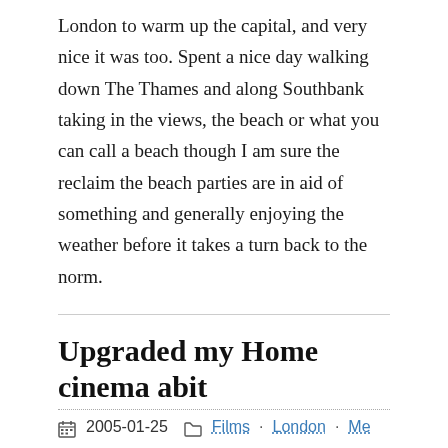London to warm up the capital, and very nice it was too. Spent a nice day walking down The Thames and along Southbank taking in the views, the beach or what you can call a beach though I am sure the reclaim the beach parties are in aid of something and generally enjoying the weather before it takes a turn back to the norm.
Upgraded my Home cinema abit
2005-01-25   Films · London · Me
Just I made the plunge and finally upgraded some elements of the home cinema by the inclusion of firstly a Pioneer 575A DVD player which also plays back DVD-A, SACD, DVD-R/RW, CDR, Divx, jpg and mp3 files! It has progressive scan on component video outs and it plays very nicely to Next up was the screen so I choose after